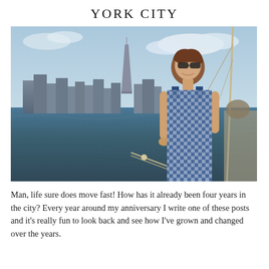YORK CITY
[Figure (photo): A young woman wearing sunglasses and a blue and white gingham dress, smiling on a sailboat with the New York City skyline and water in the background.]
Man, life sure does move fast! How has it already been four years in the city? Every year around my anniversary I write one of these posts and it's really fun to look back and see how I've grown and changed over the years.